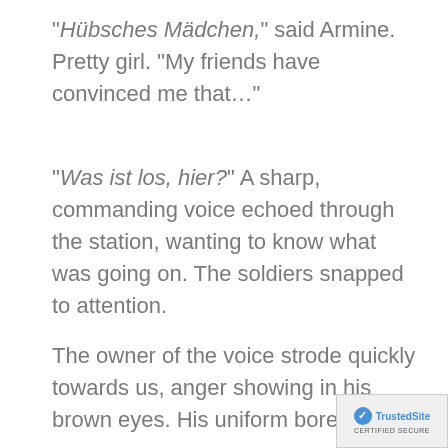"Hübsches Mädchen," said Armine. Pretty girl. "My friends have convinced me that…"
"Was ist los, hier?" A sharp, commanding voice echoed through the station, wanting to know what was going on. The soldiers snapped to attention.
The owner of the voice strode quickly towards us, anger showing in his brown eyes. His uniform bore
[Figure (logo): TrustedSite CERTIFIED SECURE badge/logo in lower right corner]